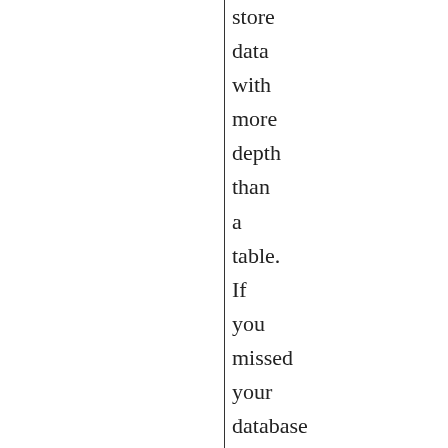store data with more depth than a table. If you missed your database design and relational algebra classes, or don't